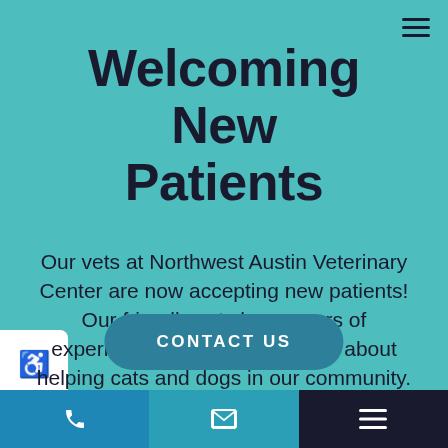Welcoming New Patients
Our vets at Northwest Austin Veterinary Center are now accepting new patients! Our friendly vets have years of experience and are passionate about helping cats and dogs in our community. Contact us today to schedule your pet's first appointment.
CONTACT US
Phone | Email | Menu